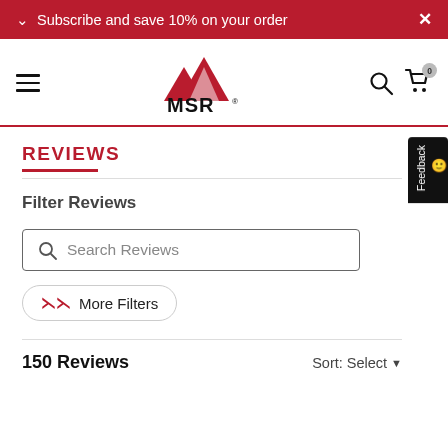Subscribe and save 10% on your order
[Figure (logo): MSR mountain logo with red mountain peaks above the text MSR]
Filter Reviews
Search Reviews
More Filters
150 Reviews
Sort: Select